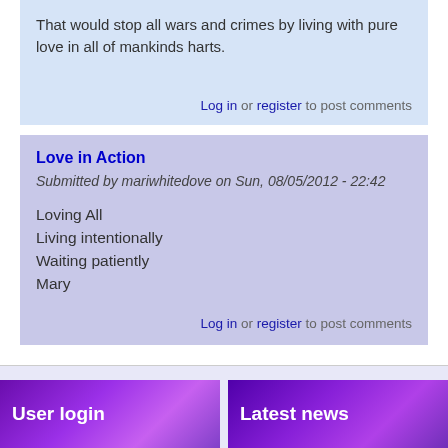That would stop all wars and crimes by living with pure love in all of mankinds harts.
Log in or register to post comments
Love in Action
Submitted by mariwhitedove on Sun, 08/05/2012 - 22:42
Loving All
Living intentionally
Waiting patiently
Mary
Log in or register to post comments
User login
Latest news